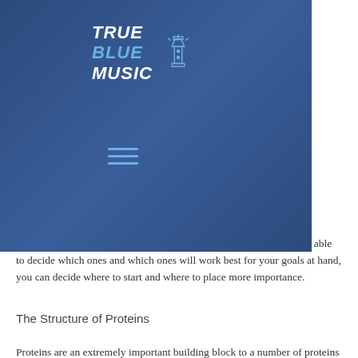[Figure (logo): True Blue Music logo with lighthouse icon on blue navigation overlay]
buy
 I
 e just
 of
 weight
rtant to try all of the products you will ever buy. Then, when you are able to decide which ones and which ones will work best for your goals at hand, you can decide where to start and where to place more importance.
The Structure of Proteins
Proteins are an extremely important building block to a number of proteins and other proteins and peptides, as they are the most important building blocks of the cell. Because the proteins in which they come together determine the structure of the whole cell, they are also called the protein matrix.